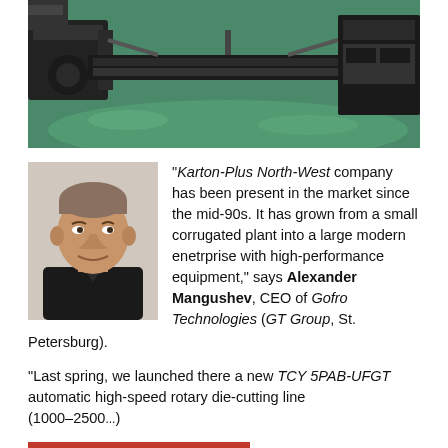[Figure (photo): Industrial machinery/printing equipment on a green factory floor]
[Figure (photo): Portrait of Alexander Mangushev, CEO of Gofro Technologies]
"Karton-Plus North-West company has been present in the market since the mid-90s. It has grown from a small corrugated plant into a large modern enetrprise with high-performance equipment," says Alexander Mangushev, CEO of Gofro Technologies (GT Group, St. Petersburg).
"Last spring, we launched there a new TCY 5PAB-UFGT automatic high-speed rotary die-cutting line (1000–2500...)